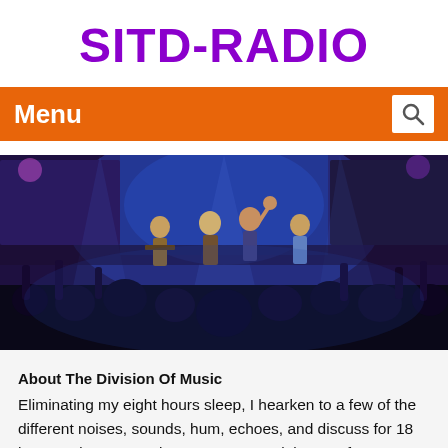SITD-RADIO
Menu
[Figure (photo): Concert scene with a band performing on a blue-lit stage, crowd in the foreground with raised hands]
About The Division Of Music
Eliminating my eight hours sleep, I hearken to a few of the different noises, sounds, hum, echoes, and discuss for 18 hours a day. Art music composers reminiscent of George Gershwin wrote music that was influenced by jazz. seventy three seventy four Music is skilled by people in a range of